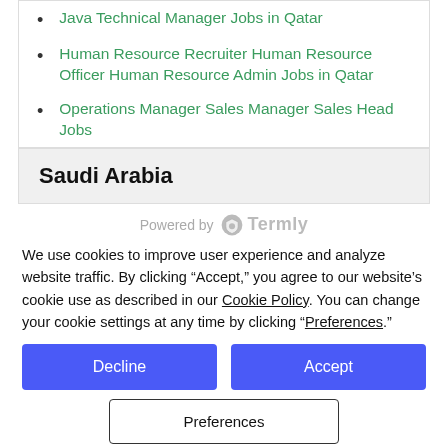Java Technical Manager Jobs in Qatar
Human Resource Recruiter Human Resource Officer Human Resource Admin Jobs in Qatar
Operations Manager Sales Manager Sales Head Jobs
Saudi Arabia
[Figure (logo): Powered by Termly logo with shield icon]
We use cookies to improve user experience and analyze website traffic. By clicking “Accept,” you agree to our website’s cookie use as described in our Cookie Policy. You can change your cookie settings at any time by clicking “Preferences.”
Decline
Accept
Preferences